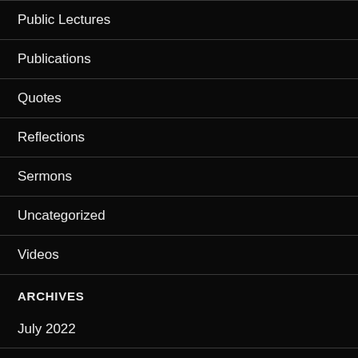Public Lectures
Publications
Quotes
Reflections
Sermons
Uncategorized
Videos
ARCHIVES
July 2022
June 2022
May 2022